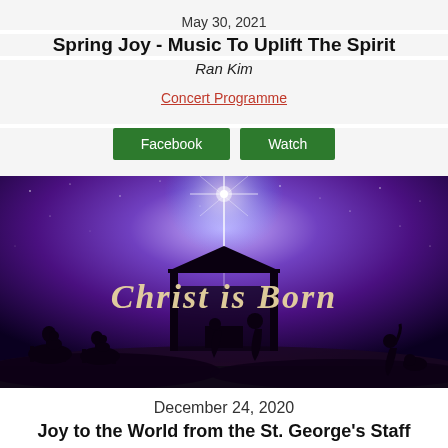May 30, 2021
Spring Joy - Music To Uplift The Spirit
Ran Kim
Concert Programme
Facebook
Watch
[Figure (photo): Nativity scene with star of Bethlehem shining bright against a purple galaxy sky, silhouette of manger with figures and camels, text 'Christ is Born' in cursive script]
December 24, 2020
Joy to the World from the St. George's Staff